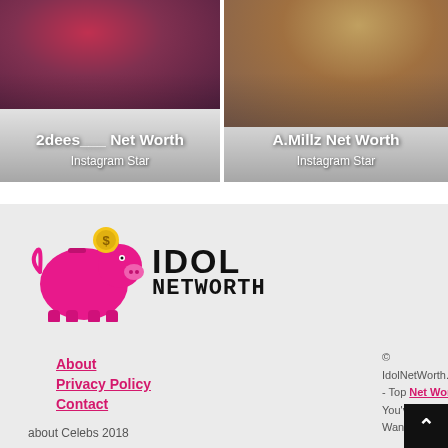[Figure (photo): Card image for 2dees__ with pink/red hair, overlaid with title text '2dees__ Net Worth' and subtitle 'Instagram Star']
[Figure (photo): Card image for A.Millz with curly light hair, overlaid with title text 'A.Millz Net Worth' and subtitle 'Instagram Star']
[Figure (logo): Idol NetWorth logo with pink piggy bank icon and bold text 'IDOL NETWORTH']
About
Privacy Policy
Contact
about Celebs 2018
© IdolNetWorth.com - Top Net Worth You've Always Wanted to Know